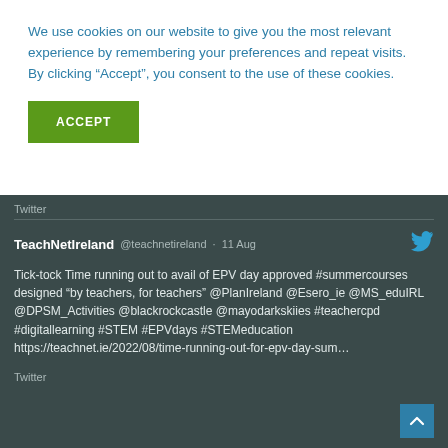We use cookies on our website to give you the most relevant experience by remembering your preferences and repeat visits. By clicking “Accept”, you consent to the use of these cookies.
ACCEPT
Twitter
TeachNetIreland @teachnetireland · 11 Aug
Tick-tock Time running out to avail of EPV day approved #summercourses designed “by teachers, for teachers” @PlanIreland @Esero_ie @MS_eduIRL @DPSM_Activities @blackrockcastle @mayodarkskiies #teachercpd #digitallearning #STEM #EPVdays #STEMeducation https://teachnet.ie/2022/08/time-running-out-for-epv-day-sum…
Twitter